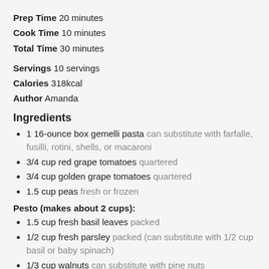Prep Time 20 minutes
Cook Time 10 minutes
Total Time 30 minutes
Servings 10 servings
Calories 318kcal
Author Amanda
Ingredients
1 16-ounce box gemelli pasta can substitute with farfalle, fusilli, rotini, shells, or macaroni
3/4 cup red grape tomatoes quartered
3/4 cup golden grape tomatoes quartered
1.5 cup peas fresh or frozen
Pesto (makes about 2 cups):
1.5 cup fresh basil leaves packed
1/2 cup fresh parsley packed (can substitute with 1/2 cup basil or baby spinach)
1/3 cup walnuts can substitute with pine nuts
1/2 cup nutritional yeast can substitute with parmesan or romano cheese if not vegan